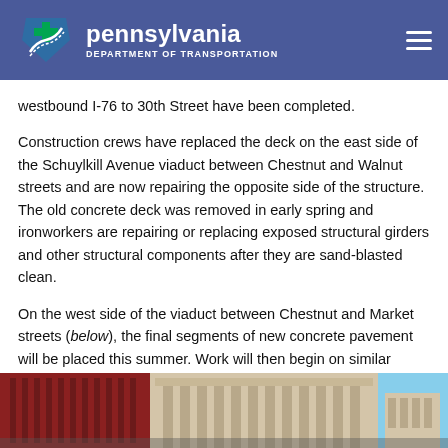pennsylvania DEPARTMENT OF TRANSPORTATION
westbound I-76 to 30th Street have been completed.
Construction crews have replaced the deck on the east side of the Schuylkill Avenue viaduct between Chestnut and Walnut streets and are now repairing the opposite side of the structure. The old concrete deck was removed in early spring and ironworkers are repairing or replacing exposed structural girders and other structural components after they are sand-blasted clean.
On the west side of the viaduct between Chestnut and Market streets (below), the final segments of new concrete pavement will be placed this summer. Work will then begin on similar repairs on the east side of the viaduct.
[Figure (photo): Photograph showing the viaduct construction site with buildings including what appears to be 30th Street Station in the background.]